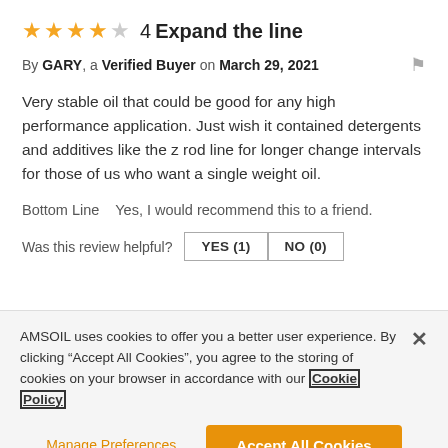4 Expand the line
By GARY, a Verified Buyer on March 29, 2021
Very stable oil that could be good for any high performance application. Just wish it contained detergents and additives like the z rod line for longer change intervals for those of us who want a single weight oil.
Bottom Line    Yes, I would recommend this to a friend.
Was this review helpful? YES (1) NO (0)
AMSOIL uses cookies to offer you a better user experience. By clicking “Accept All Cookies”, you agree to the storing of cookies on your browser in accordance with our Cookie Policy
Manage Preferences
Accept All Cookies